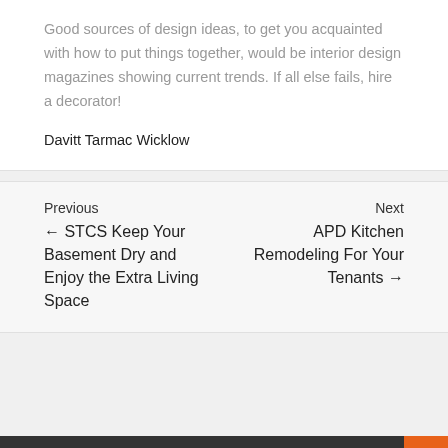Good sources of design ideas, to get you acquainted with how to put things together, would be interior design magazines showing current trends. If all else fails, hire a decorator!
Davitt Tarmac Wicklow
Previous ← STCS Keep Your Basement Dry and Enjoy the Extra Living Space
Next APD Kitchen Remodeling For Your Tenants →